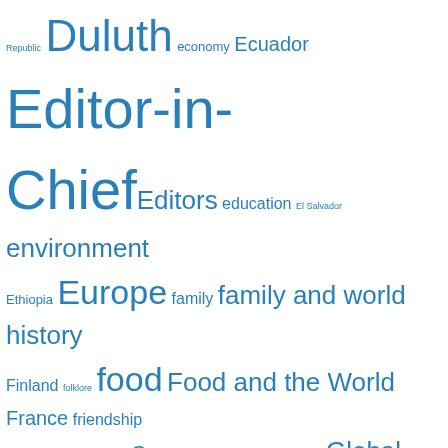[Figure (other): Tag cloud of topics/keywords in various font sizes, all in blue. Terms include: Republic, Duluth, economy, Ecuador, Editor-in-Chief, Editors, education, El Salvador, environment, Ethiopia, Europe, family, family and world history, Finland, folklore, food, Food and the World, France, friendship, gender, geography, Germany, Ghana, globalization, Global Studies, Greece, Guatemala, Haiti, healthcare, History, Hmong, home, Home Office, Honduras, identity, Immigration Stories, India, Indigenous Peoples, inequality, interviews, Iran, Iraq, Ireland, Israel, Italy, Japan, K-12, Kazakhstan, Kenya, languages, Latin America, literature, meaning of life, Mexico, Micronesia, migration, Minnesota, Mona Monkey, Mongolia, music, myths, names, nature, Nepal, New Zealand, Nicaragua, North]